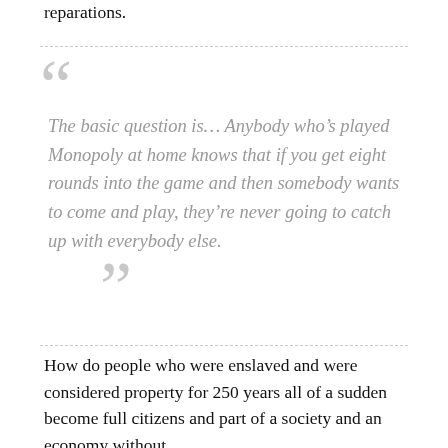reparations.
The basic question is… Anybody who's played Monopoly at home knows that if you get eight rounds into the game and then somebody wants to come and play, they're never going to catch up with everybody else.
How do people who were enslaved and were considered property for 250 years all of a sudden become full citizens and part of a society and an economy without